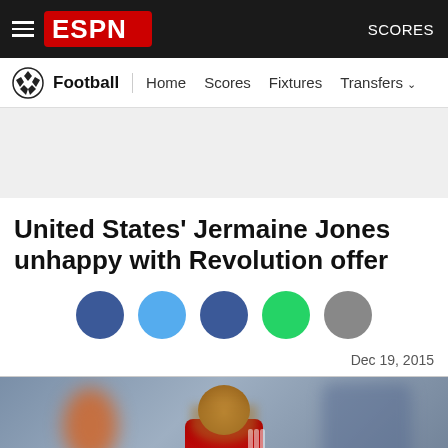ESPN — SCORES
Football | Home  Scores  Fixtures  Transfers
[Figure (other): Grey advertisement banner area]
United States' Jermaine Jones unhappy with Revolution offer
[Figure (infographic): Social share icons: Facebook, Twitter, Facebook Messenger, WhatsApp, More (grey)]
Dec 19, 2015
[Figure (photo): Photo of Jermaine Jones running on a soccer field, wearing a red jersey, with blurred stadium background including an orange-clad player]